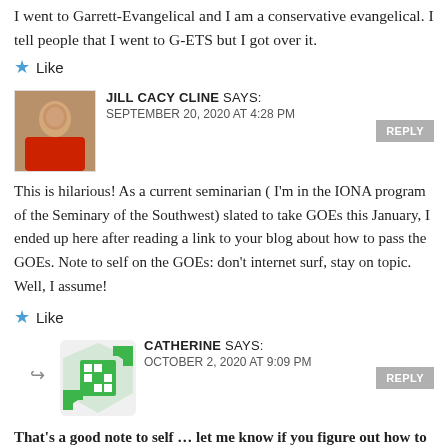I went to Garrett-Evangelical and I am a conservative evangelical. I tell people that I went to G-ETS but I got over it.
Like
JILL CACY CLINE SAYS: SEPTEMBER 20, 2020 AT 4:28 PM
This is hilarious! As a current seminarian ( I'm in the IONA program of the Seminary of the Southwest) slated to take GOEs this January, I ended up here after reading a link to your blog about how to pass the GOEs. Note to self on the GOEs: don't internet surf, stay on topic. Well, I assume!
Like
CATHERINE SAYS: OCTOBER 2, 2020 AT 9:09 PM
That's a good note to self … let me know if you figure out how to follow your own advice! (I did plenty of internet procrastination during the GOEs